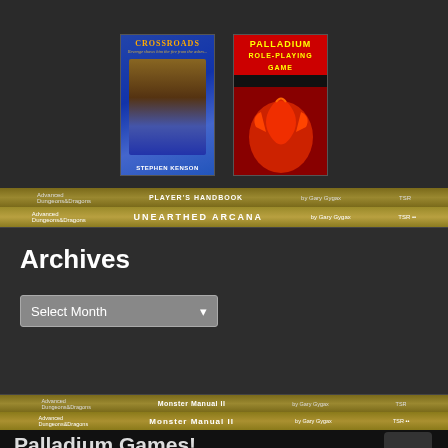[Figure (photo): Two book covers: 'Crossroads' by Stephen Kenson and 'Palladium Role-Playing Game' displayed side by side on dark background]
[Figure (photo): Advanced Dungeons & Dragons Unearthed Arcana by Gary Gygax book spine band]
Archives
[Figure (screenshot): Select Month dropdown widget]
[Figure (photo): Advanced Dungeons & Dragons Monster Manual II by Gary Gygax book spine band]
Palladium Games!
[Figure (photo): RIFTS banner: Science fiction, fantasy, horror, and more in one roleplaying game]